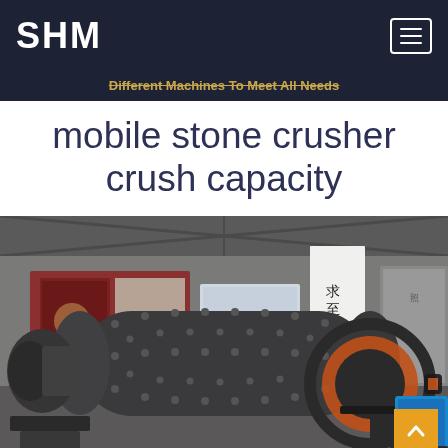SHM
Different Machines To Meet All Needs
mobile stone crusher crush capacity
[Figure (photo): Industrial ball mill machine in a large factory/warehouse setting. The machine is a large dark grey cylindrical drum with bolt-studded surface, mounted horizontally with a large gear wheel on the right end, motors and drive machinery on the left, and a blue component visible at the far right. Background shows factory wall with Chinese text banners reading 求至上 创新永天 and promotional imagery.]